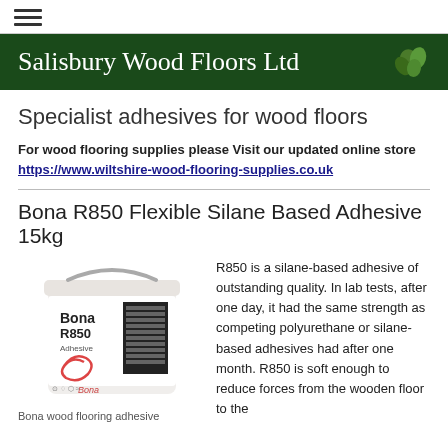≡ (hamburger menu icon)
[Figure (logo): Salisbury Wood Floors Ltd banner with dark green background, white serif text title, and green leaf logo on right]
Specialist adhesives for wood floors
For wood flooring supplies please Visit our updated online store https://www.wiltshire-wood-flooring-supplies.co.uk
Bona R850 Flexible Silane Based Adhesive 15kg
[Figure (photo): White bucket of Bona R850 Adhesive with pink swirl logo and black label panel]
Bona wood flooring adhesive
R850 is a silane-based adhesive of outstanding quality. In lab tests, after one day, it had the same strength as competing polyurethane or silane-based adhesives had after one month. R850 is soft enough to reduce forces from the wooden floor to the